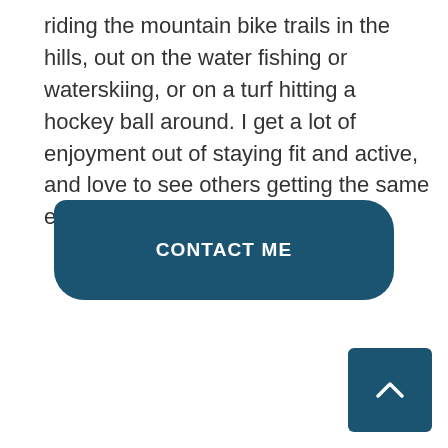riding the mountain bike trails in the hills, out on the water fishing or waterskiing, or on a turf hitting a hockey ball around. I get a lot of enjoyment out of staying fit and active, and love to see others getting the same enjoyment out of their lives.
[Figure (other): A teal/dark blue rounded button labeled 'CONTACT ME' in white bold uppercase text]
[Figure (other): A teal/dark blue rounded square back-to-top button with a white upward chevron arrow icon in the bottom-right corner]